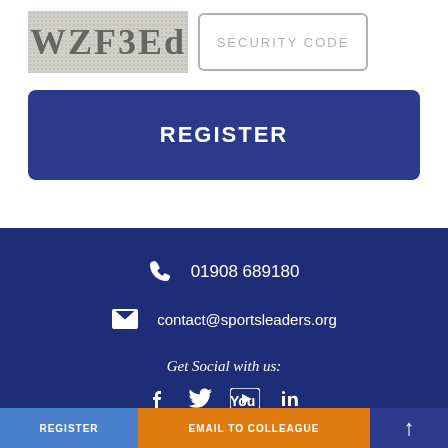[Figure (screenshot): CAPTCHA image showing text 'WZF3Ed' on a noisy grey background, alongside a 'SECURITY CODE' input field]
REGISTER
01908 689180
contact@sportsleaders.org
Get Social with us:
[Figure (infographic): Social media icons row: Facebook, Twitter, YouTube, and another icon, partially cut off]
REGISTER   EMAIL TO COLLEAGUE   ↑